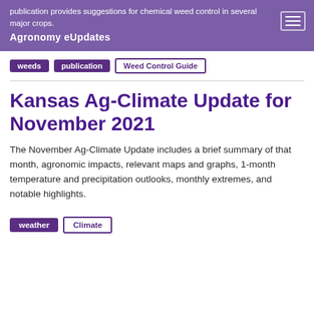publication provides suggestions for chemical weed control in several major crops.
Agronomy eUpdates
weeds | publication | Weed Control Guide
Kansas Ag-Climate Update for November 2021
The November Ag-Climate Update includes a brief summary of that month, agronomic impacts, relevant maps and graphs, 1-month temperature and precipitation outlooks, monthly extremes, and notable highlights.
weather | Climate